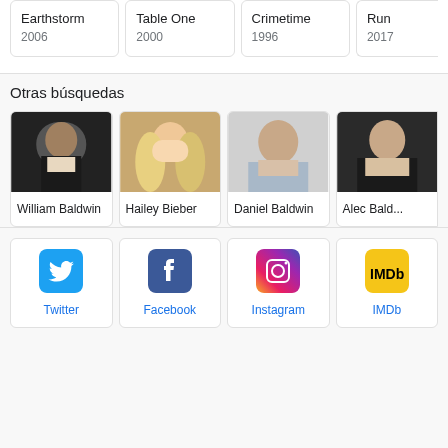Earthstorm
2006
Table One
2000
Crimetime
1996
Run
2017
Otras búsquedas
[Figure (photo): Photo of William Baldwin]
William Baldwin
[Figure (photo): Photo of Hailey Bieber]
Hailey Bieber
[Figure (photo): Photo of Daniel Baldwin]
Daniel Baldwin
[Figure (photo): Photo of Alec Baldwin (partially visible)]
Alec Bald...
[Figure (logo): Twitter logo]
Twitter
[Figure (logo): Facebook logo]
Facebook
[Figure (logo): Instagram logo]
Instagram
[Figure (logo): IMDb logo]
IMDb